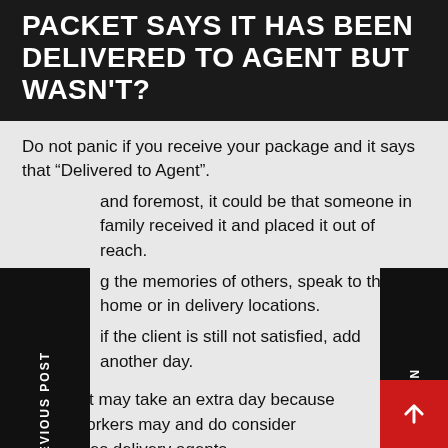PACKET SAYS IT HAS BEEN DELIVERED TO AGENT BUT WASN'T?
Do not panic if you receive your package and it says that “Delivered to Agent”.
and foremost, it could be that someone in family received it and placed it out of reach.
g the memories of others, speak to them at home or in delivery locations.
if the client is still not satisfied, add another day.
Further, it may take an extra day because Postal workers may and do consider themselves delivery agents.
PREVIOUS POST
NEXT POST